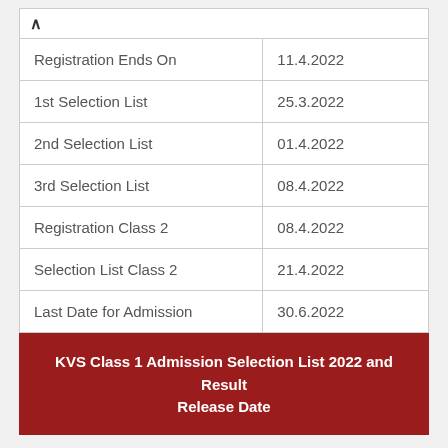| Event | Date |
| --- | --- |
| Registration Ends On | 11.4.2022 |
| 1st Selection List | 25.3.2022 |
| 2nd Selection List | 01.4.2022 |
| 3rd Selection List | 08.4.2022 |
| Registration Class 2 | 08.4.2022 |
| Selection List Class 2 | 21.4.2022 |
| Last Date for Admission | 30.6.2022 |
KVS Class 1 Admission Selection List 2022 and Result Release Date